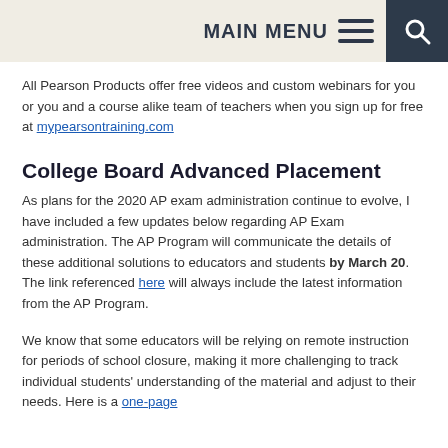MAIN MENU
All Pearson Products offer free videos and custom webinars for you or you and a course alike team of teachers when you sign up for free at mypearsontraining.com
College Board Advanced Placement
As plans for the 2020 AP exam administration continue to evolve, I have included a few updates below regarding AP Exam administration. The AP Program will communicate the details of these additional solutions to educators and students by March 20. The link referenced here will always include the latest information from the AP Program.
We know that some educators will be relying on remote instruction for periods of school closure, making it more challenging to track individual students' understanding of the material and adjust to their needs. Here is a one-page